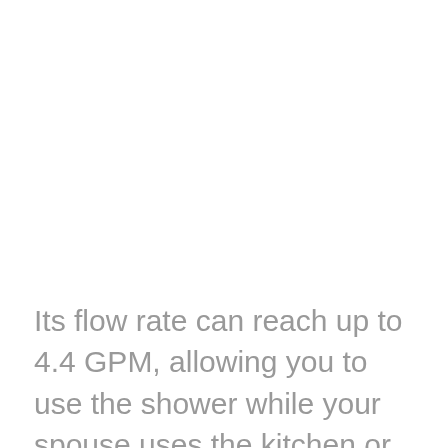Its flow rate can reach up to 4.4 GPM, allowing you to use the shower while your spouse uses the kitchen or the dishwasher. It allows you to save on electricity thanks to its self-modulating